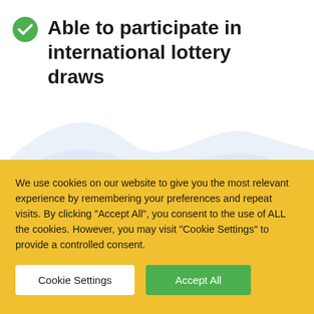Able to participate in international lottery draws
[Figure (illustration): Decorative light blue wave/hill background graphic in the middle section of the page]
We use cookies on our website to give you the most relevant experience by remembering your preferences and repeat visits. By clicking "Accept All", you consent to the use of ALL the cookies. However, you may visit "Cookie Settings" to provide a controlled consent.